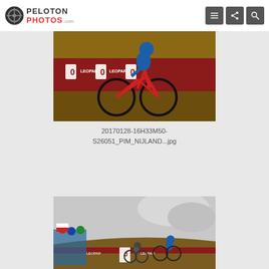PELOTON PHOTOS.com
[Figure (photo): Cyclist in blue and red kit riding a red cyclocross bike on a muddy course with sponsor banners in background]
20170128-16H33M50-S26051_PIM_NIJLAND...jpg
[Figure (photo): Cyclocross race scene with multiple riders on a dirt/snowy course, spectators visible on the left with flags and banners]